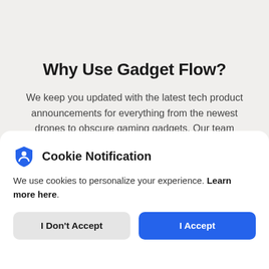Why Use Gadget Flow?
We keep you updated with the latest tech product announcements for everything from the newest drones to obscure gaming gadgets. Our team
Cookie Notification
We use cookies to personalize your experience. Learn more here.
I Don't Accept
I Accept